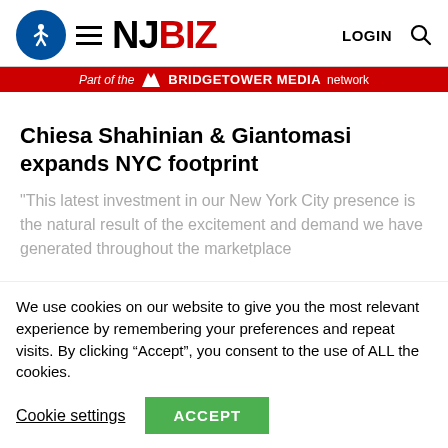NJBIZ — Part of the BridgeTower Media network
Chiesa Shahinian & Giantomasi expands NYC footprint
"This latest investment in our New York City presence is the natural result of the excitement and demand we have generated throughout the marketplace
We use cookies on our website to give you the most relevant experience by remembering your preferences and repeat visits. By clicking “Accept”, you consent to the use of ALL the cookies.
Cookie settings   ACCEPT